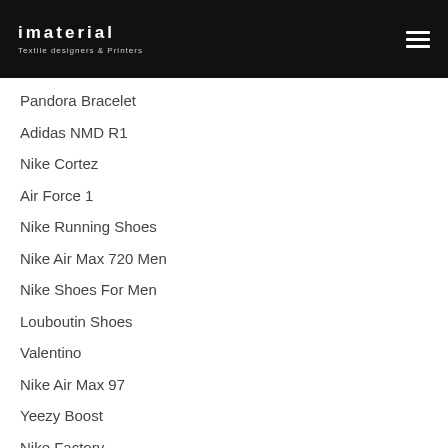imaterial — Textile designers & Printers
Pandora Bracelet
Adidas NMD R1
Nike Cortez
Air Force 1
Nike Running Shoes
Nike Air Max 720 Men
Nike Shoes For Men
Louboutin Shoes
Valentino
Nike Air Max 97
Yeezy Boost
Nike Factory
Pandora
Red Bottom Shoes
Nike Outlet Store Online